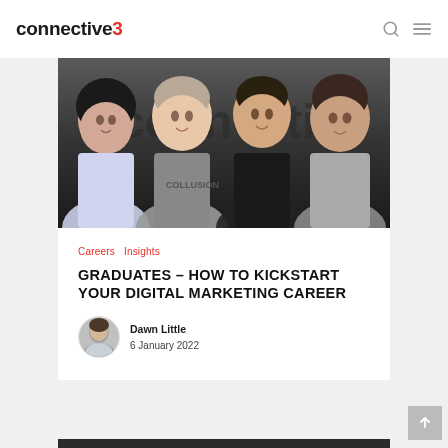connective3
[Figure (photo): Group photo of four young people (three men and one woman) smiling at the camera against a dark background with partial office branding text visible]
Careers  Insights
GRADUATES – HOW TO KICKSTART YOUR DIGITAL MARKETING CAREER
Dawn Little
6 January 2022